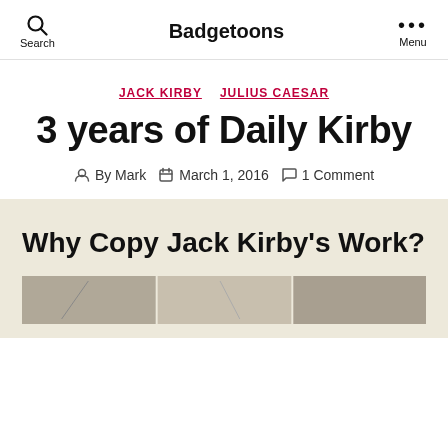Search | Badgetoons | Menu
JACK KIRBY  JULIUS CAESAR
3 years of Daily Kirby
By Mark  March 1, 2016  1 Comment
Why Copy Jack Kirby's Work?
[Figure (photo): Partial image strip at bottom of page, showing comic artwork thumbnails]